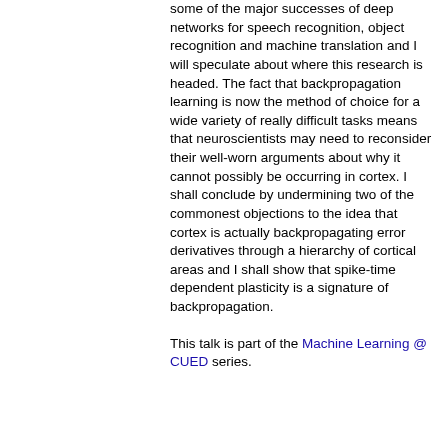some of the major successes of deep networks for speech recognition, object recognition and machine translation and I will speculate about where this research is headed. The fact that backpropagation learning is now the method of choice for a wide variety of really difficult tasks means that neuroscientists may need to reconsider their well-worn arguments about why it cannot possibly be occurring in cortex. I shall conclude by undermining two of the commonest objections to the idea that cortex is actually backpropagating error derivatives through a hierarchy of cortical areas and I shall show that spike-time dependent plasticity is a signature of backpropagation.
This talk is part of the Machine Learning @ CUED series.